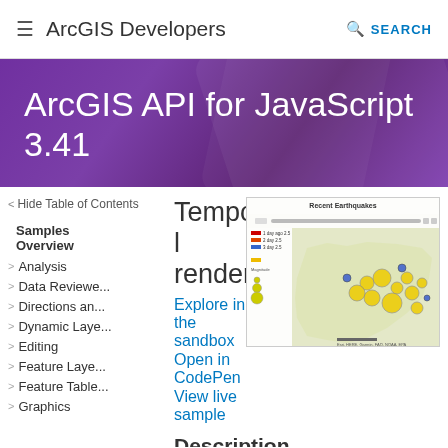ArcGIS Developers    SEARCH
ArcGIS API for JavaScript 3.41
< Hide Table of Contents
Samples Overview
> Analysis
> Data Reviewer
> Directions and
> Dynamic Layer
> Editing
> Feature Layer
> Feature Table
> Graphics
Temporal renderer
Explore in the sandbox
Open in CodePen
View live sample
[Figure (screenshot): Map showing Recent Earthquakes with temporal renderer, displaying colored dots on a geographic map. Legend shows red, blue, and yellow markers for different time ranges.]
Description